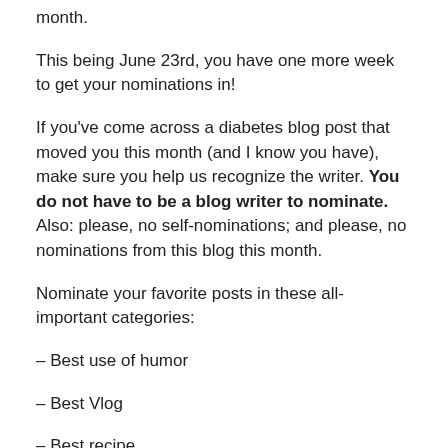month.
This being June 23rd, you have one more week to get your nominations in!
If you've come across a diabetes blog post that moved you this month (and I know you have), make sure you help us recognize the writer. You do not have to be a blog writer to nominate. Also: please, no self-nominations; and please, no nominations from this blog this month.
Nominate your favorite posts in these all-important categories:
– Best use of humor
– Best Vlog
– Best recipe